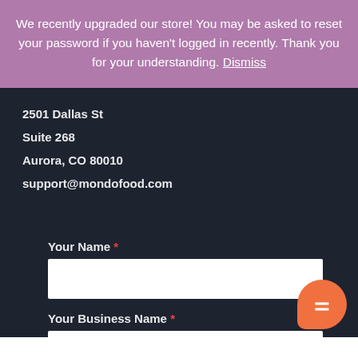We recently upgraded our store! You may be asked to reset your password if you haven't logged in recently. Thank you for your understanding. Dismiss
2501 Dallas St
Suite 268
Aurora, CO 80010
support@mondofood.com
Your Name *
Your Business Name *